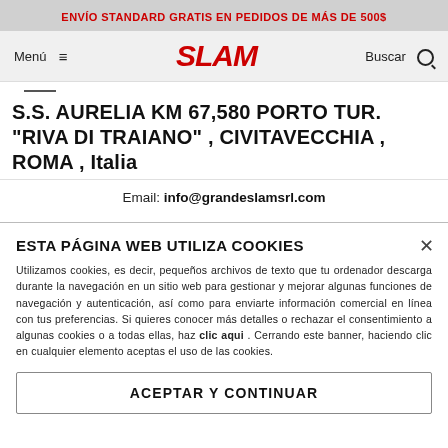ENVÍO STANDARD GRATIS EN PEDIDOS DE MÁS DE 500$
[Figure (logo): SLAM brand logo in red italic bold text, with Menú ≡ on left and Buscar 🔍 on right navigation bar]
S.S. AURELIA KM 67,580 PORTO TUR. "RIVA DI TRAIANO" , CIVITAVECCHIA , ROMA , Italia
Email: info@grandeslamsrl.com
ESTA PÁGINA WEB UTILIZA COOKIES
Utilizamos cookies, es decir, pequeños archivos de texto que tu ordenador descarga durante la navegación en un sitio web para gestionar y mejorar algunas funciones de navegación y autenticación, así como para enviarte información comercial en línea con tus preferencias. Si quieres conocer más detalles o rechazar el consentimiento a algunas cookies o a todas ellas, haz clic aqui . Cerrando este banner, haciendo clic en cualquier elemento aceptas el uso de las cookies.
ACEPTAR Y CONTINUAR